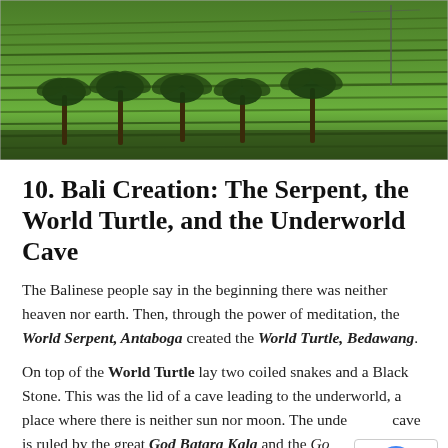[Figure (photo): Aerial view of green Balinese rice terraces with palm trees in the foreground]
10. Bali Creation: The Serpent, the World Turtle, and the Underworld Cave
The Balinese people say in the beginning there was neither heaven nor earth. Then, through the power of meditation, the World Serpent, Antaboga created the World Turtle, Bedawang.
On top of the World Turtle lay two coiled snakes and a Black Stone. This was the lid of a cave leading to the underworld, a place where there is neither sun nor moon. The underworld cave is ruled by the great God Batara Kala and the Goddess S... to the home of the Great dragon serpent...